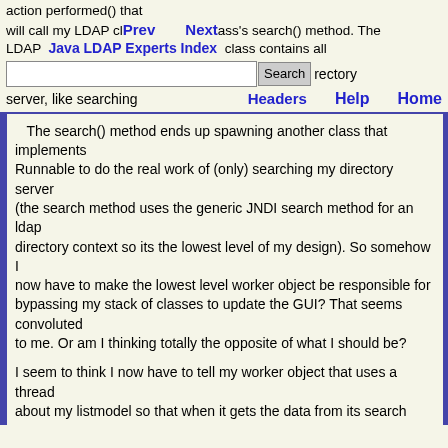action performed() that will call my LDAP class's search() method. The LDAP class contains all
Prev | Next | Java LDAP Experts Index | Search | Headers | Help | Home
server, like searching
The search() method ends up spawning another class that implements Runnable to do the real work of (only) searching my directory server (the search method uses the generic JNDI search method for an ldap directory context so its the lowest level of my design). So somehow I now have to make the lowest level worker object be responsible for bypassing my stack of classes to update the GUI? That seems convoluted to me. Or am I thinking totally the opposite of what I should be?
I seem to think I now have to tell my worker object that uses a thread about my listmodel so that when it gets the data from its search